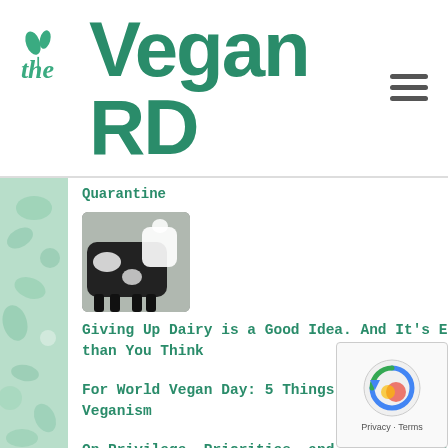the Vegan RD
Quarantine
[Figure (photo): Black and white dairy cow close-up photo]
Giving Up Dairy is a Good Idea. And It's Easier than You Think
For World Vegan Day: 5 Things to Know About Veganism
On Privilege, Priorities, and Processed Foods in